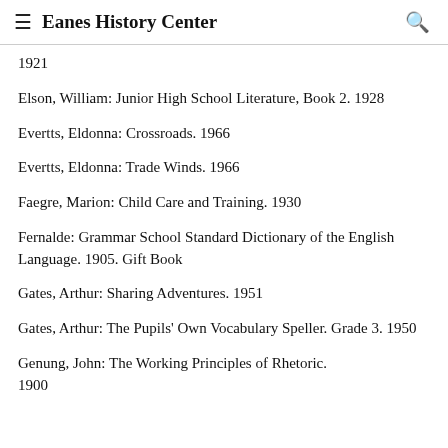Eanes History Center
1921
Elson, William: Junior High School Literature, Book 2. 1928
Evertts, Eldonna: Crossroads. 1966
Evertts, Eldonna: Trade Winds. 1966
Faegre, Marion: Child Care and Training. 1930
Fernalde: Grammar School Standard Dictionary of the English Language. 1905. Gift Book
Gates, Arthur: Sharing Adventures. 1951
Gates, Arthur: The Pupils' Own Vocabulary Speller. Grade 3. 1950
Genung, John: The Working Principles of Rhetoric. 1900